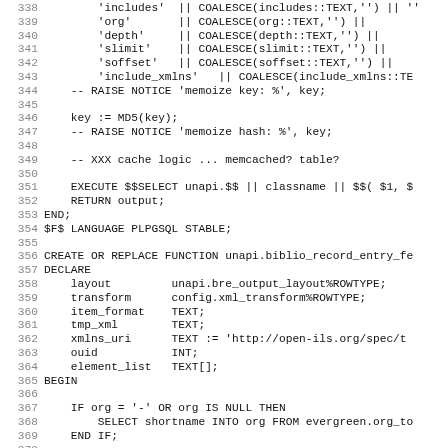[Figure (screenshot): Source code listing showing SQL/PLPGSQL code, lines 338-370, with line numbers on the left and code on the right in monospace font.]